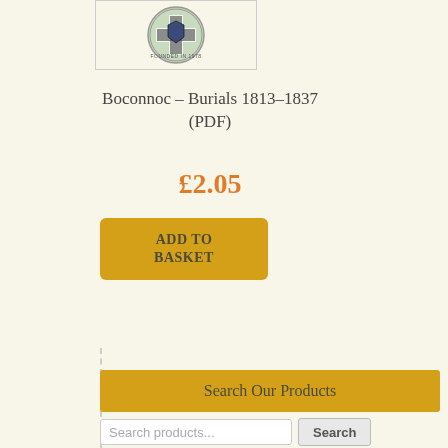[Figure (logo): Circular organization logo with Cornish cross design and text 'FOUNDED IN 1978']
Boconnoc – Burials 1813–1837 (PDF)
£2.05
ADD TO BASKET
Search Our Products
Search products...